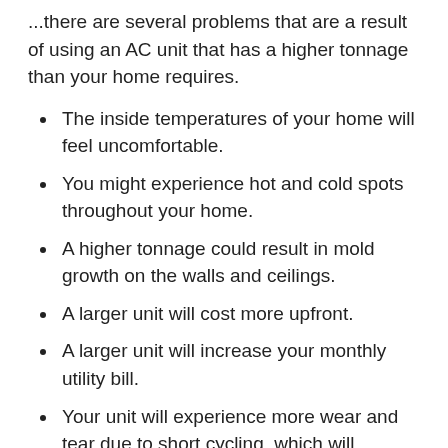...there are several problems that are a result of using an AC unit that has a higher tonnage than your home requires.
The inside temperatures of your home will feel uncomfortable.
You might experience hot and cold spots throughout your home.
A higher tonnage could result in mold growth on the walls and ceilings.
A larger unit will cost more upfront.
A larger unit will increase your monthly utility bill.
Your unit will experience more wear and tear due to short cycling, which will shorten its life expectancy.
Short cycling results in higher humidity levels